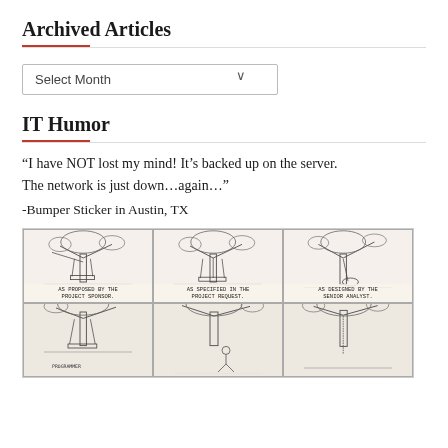Archived Articles
Select Month
IT Humor
“I have NOT lost my mind! It’s backed up on the server. The network is just down…again…”
-Bumper Sticker in Austin, TX
[Figure (illustration): Six-panel comic strip showing a tree swing project in different stages: As proposed by the project sponsor, As specified in the project request, As designed by the senior analyst, and more panels below.]